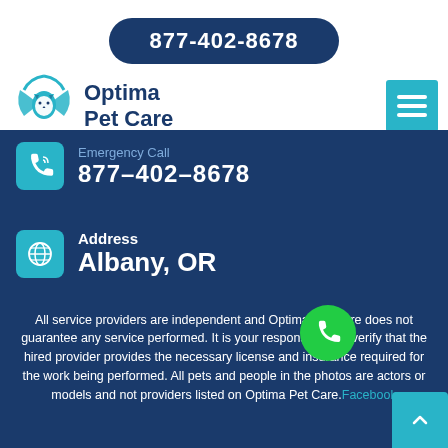877-402-8678
[Figure (logo): Optima Pet Care logo with paw/cat/dog icon in cyan blue, text reads Optima Pet Care in dark blue]
Emergency Call
877-402-8678
Address
Albany, OR
All service providers are independent and Optima Pet Care does not guarantee any service performed. It is your responsibility to verify that the hired provider provides the necessary license and insurance required for the work being performed. All pets and people in the photos are actors or models and not providers listed on Optima Pet Care. Facebook